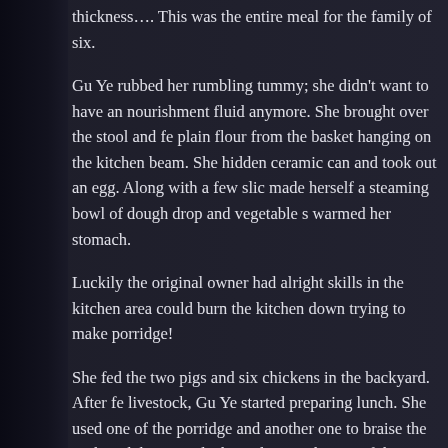thickness…. This was the entire meal for the family of six.
Gu Ye rubbed her rumbling tummy; she didn't want to have any nourishment fluid anymore. She brought over the stool and fetched plain flour from the basket hanging on the kitchen beam. She hidden ceramic can and took out an egg. Along with a few slices, made herself a steaming bowl of dough drop and vegetable soup warmed her stomach.
Luckily the original owner had alright skills in the kitchen area, could burn the kitchen down trying to make porridge!
She fed the two pigs and six chickens in the backyard. After feeding livestock, Gu Ye started preparing lunch. She used one of the pots for porridge and another one to braise the pork with beans and e heated up on the rim of the pots – this was how the original o the meals.
She found some seasonings from dimension and added some chicken essence. She had no idea whether she had added the right amount, least it'd beat the plain-cooked meal. She grabbed out a bowl from the pickle bowl and minced them. She also fried up…